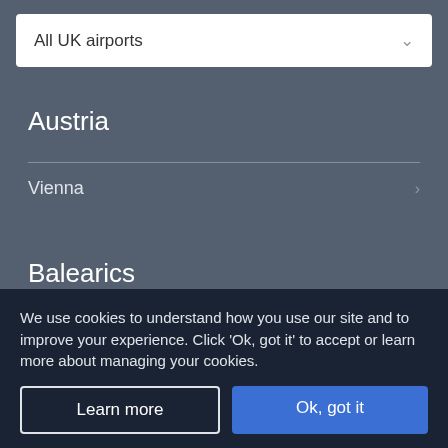All UK airports
Austria
Vienna
Balearics
Ibiza (17 Resorts)
Majorca
We use cookies to understand how you use our site and to improve your experience. Click 'Ok, got it' to accept or learn more about managing your cookies.
Learn more
Ok, got it